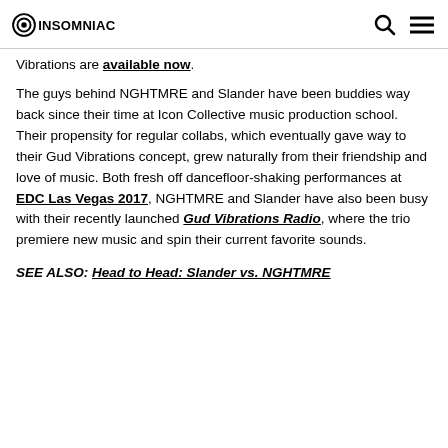INSOMNIAC [logo with search and menu icons]
Vibrations are available now.
The guys behind NGHTMRE and Slander have been buddies way back since their time at Icon Collective music production school. Their propensity for regular collabs, which eventually gave way to their Gud Vibrations concept, grew naturally from their friendship and love of music. Both fresh off dancefloor-shaking performances at EDC Las Vegas 2017, NGHTMRE and Slander have also been busy with their recently launched Gud Vibrations Radio, where the trio premiere new music and spin their current favorite sounds.
SEE ALSO: Head to Head: Slander vs. NGHTMRE